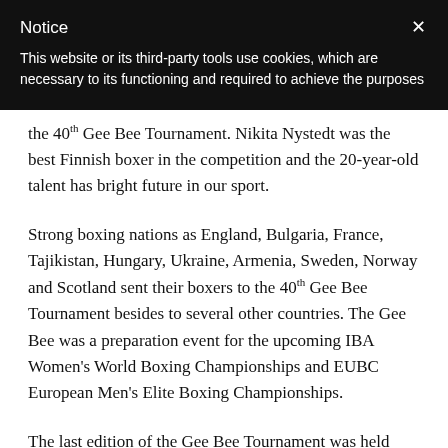Notice
This website or its third-party tools use cookies, which are necessary to its functioning and required to achieve the purposes
the 40th Gee Bee Tournament. Nikita Nystedt was the best Finnish boxer in the competition and the 20-year-old talent has bright future in our sport.
Strong boxing nations as England, Bulgaria, France, Tajikistan, Hungary, Ukraine, Armenia, Sweden, Norway and Scotland sent their boxers to the 40th Gee Bee Tournament besides to several other countries. The Gee Bee was a preparation event for the upcoming IBA Women's World Boxing Championships and EUBC European Men's Elite Boxing Championships.
The last edition of the Gee Bee Tournament was held